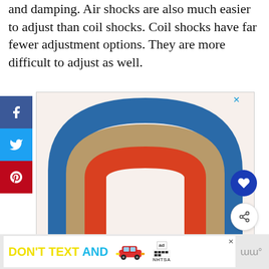easier to adjust than coil shocks. Coil shocks have far fewer adjustment options. They are more difficult to adjust as well.
[Figure (illustration): Advertisement image showing a colorful rainbow arch illustration with the text 'BE KIND.' below it. The rainbow has three arches in blue, tan/khaki, and red/orange colors on a light background.]
[Figure (screenshot): A 'WHAT'S NEXT' widget showing a thumbnail image and the title 'Coil Fork Vs Air Fork: Pr...' with an arrow.]
[Figure (screenshot): Bottom banner advertisement reading 'DON'T TEXT AND' with a red car graphic and NHTSA ad badge.]